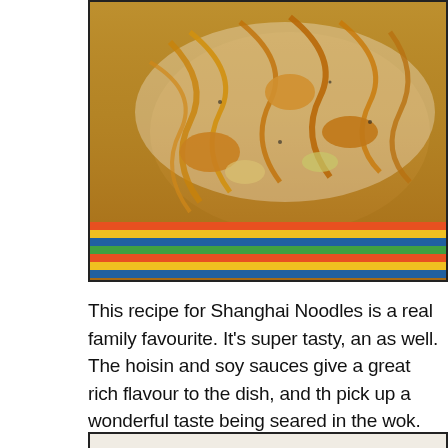[Figure (photo): Photo of Shanghai Noodles stir-fried dish with chicken and vegetables, served on a plate with a colorful striped tablecloth underneath]
This recipe for Shanghai Noodles is a real family favourite. It's super tasty, and as well. The hoisin and soy sauces give a great rich flavour to the dish, and th pick up a wonderful taste being seared in the wok. This dish has been on our family dinner rotation since I threw this recipe together years ago, and it is at falling off the list in the near future.
Give it a try and let me know what you think!
[Figure (other): Light beige/cream colored box at the bottom of the page, appears to be a content area or widget]